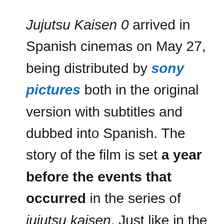Jujutsu Kaisen 0 arrived in Spanish cinemas on May 27, being distributed by sony pictures both in the original version with subtitles and dubbed into Spanish. The story of the film is set a year before the events that occurred in the series of jujutsu kaisen. Just like in the anime, the studio MAP He was also in charge of the production of the animated film. Sunghoo Park (The God of High